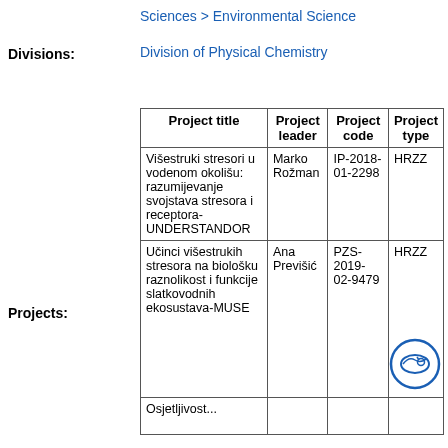Sciences > Environmental Science
Divisions: Division of Physical Chemistry
| Project title | Project leader | Project code | Project type |
| --- | --- | --- | --- |
| Višestruki stresori u vodenom okolišu: razumijevanje svojstava stresora i receptora-UNDERSTANDOR | Marko Rožman | IP-2018-01-2298 | HRZZ |
| Učinci višestrukih stresora na biološku raznolikost i funkcije slatkovodnih ekosustava-MUSE | Ana Previšić | PZS-2019-02-9479 | HRZZ |
| Osjetljivost... |  |  |  |
Projects: